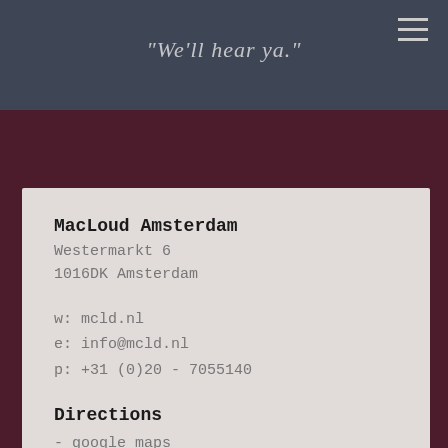We'll hear ya.
MacLoud Amsterdam
Westermarkt 6
1016DK Amsterdam
w: mcld.nl
e: info@mcld.nl
p: +31 (0)20 - 7055140
Directions
- google maps
- waze
- 9292OV